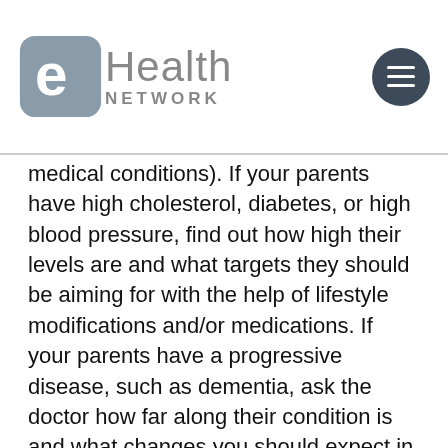eHealth Network
medical conditions). If your parents have high cholesterol, diabetes, or high blood pressure, find out how high their levels are and what targets they should be aiming for with the help of lifestyle modifications and/or medications. If your parents have a progressive disease, such as dementia, ask the doctor how far along their condition is and what changes you should expect in the coming months and years.
Step two: Inquire about their medications.
Ask your parents’ doctor to explain why they’re taking a particular medication, how it works, how often they should take it and whether it should be